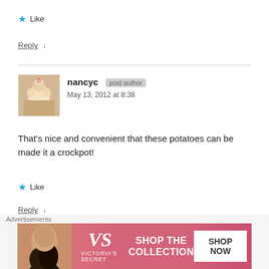★ Like
Reply ↓
nancyc [post author] May 13, 2012 at 8:38
That's nice and convenient that these potatoes can be made it a crockpot!
★ Like
Reply ↓
[Figure (photo): Advertisement banner: Victoria's Secret Shop The Collection Shop Now]
Advertisements